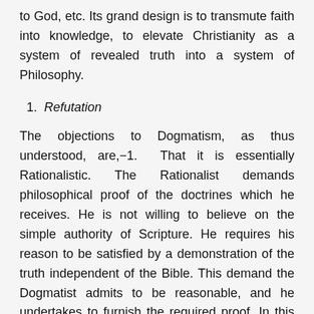to God, etc. Its grand design is to transmute faith into knowledge, to elevate Christianity as a system of revealed truth into a system of Philosophy.
1. Refutation
The objections to Dogmatism, as thus understood, are,−1. That it is essentially Rationalistic. The Rationalist demands philosophical proof of the doctrines which he receives. He is not willing to believe on the simple authority of Scripture. He requires his reason to be satisfied by a demonstration of the truth independent of the Bible. This demand the Dogmatist admits to be reasonable, and he undertakes to furnish the required proof. In this essential point, therefore, in making the reception of Christian doctrine to rest on reason and not on authority, the Dogmatist and